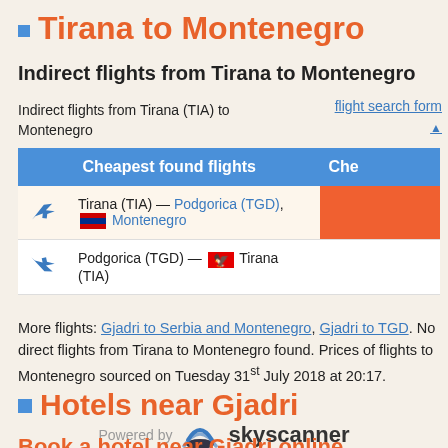Tirana to Montenegro
Indirect flights from Tirana to Montenegro
Indirect flights from Tirana (TIA) to Montenegro
flight search form
| Cheapest found flights | Che |
| --- | --- |
| ✈ Tirana (TIA) — Podgorica (TGD), Montenegro |  |
| ✈ Podgorica (TGD) — Tirana (TIA) |  |
More flights: Gjadri to Serbia and Montenegro, Gjadri to TGD. No direct flights from Tirana to Montenegro found. Prices of flights to Montenegro sourced on Tuesday 31st July 2018 at 20:17.
[Figure (logo): Powered by Skyscanner logo]
Hotels near Gjadri
Book a hotel near Gjadri online